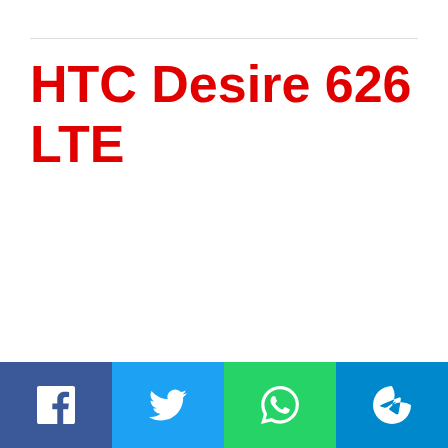HTC Desire 626 LTE
[Figure (other): Social sharing footer bar with Facebook, Twitter, WhatsApp, and Telegram icons on colored backgrounds (blue, light blue, green, teal)]